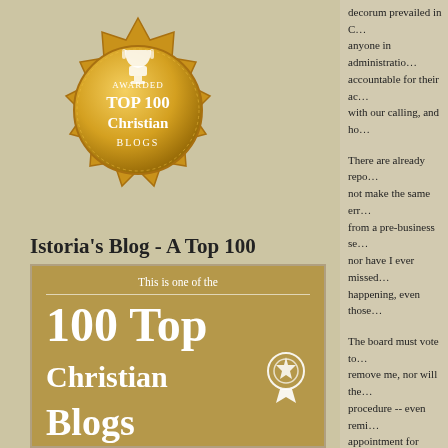[Figure (illustration): Gold badge/seal with trophy icon reading AWARDED TOP 100 Christian BLOGS]
Istoria's Blog - A Top 100
[Figure (illustration): Brown/tan banner reading: This is one of the 100 Top Christian Blogs, with a rosette/ribbon icon and text Click here to see the other 99]
decorum prevailed in C... anyone in administration accountable for their ac... with our calling, and ho...
There are already repo... not make the same err... from a pre-business se... nor have I ever missed happening, even those...
The board must vote to... remove me, nor will the... procedure -- even remi... appointment for commil... have not been appointe... every meeting where b...
So, before anybody ge... have been raised this p... the spirit is much better...